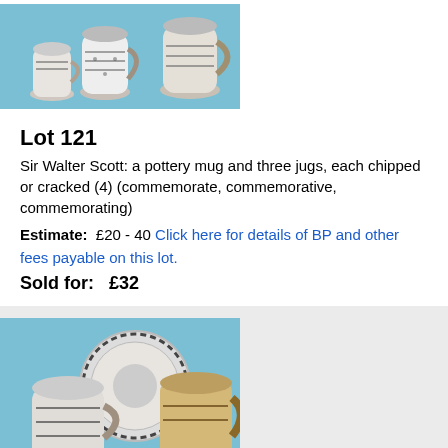[Figure (photo): Photo of Sir Walter Scott commemorative pottery: a mug and three jugs on a blue background]
Lot 121
Sir Walter Scott: a pottery mug and three jugs, each chipped or cracked (4) (commemorate, commemorative, commemorating)
Estimate:  £20 - 40  Click here for details of BP and other fees payable on this lot.
Sold for:   £32
[Figure (photo): Photo of Sir Walter Scott commemorative pottery pieces: cups, saucer, and mug on a blue background]
Lot 122
As ott...in...ribed for Sar...Reli...in...m...in...